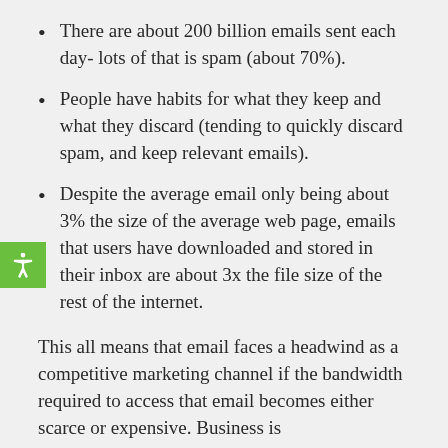There are about 200 billion emails sent each day- lots of that is spam (about 70%).
People have habits for what they keep and what they discard (tending to quickly discard spam, and keep relevant emails).
Despite the average email only being about 3% the size of the average web page, emails that users have downloaded and stored in their inbox are about 3x the file size of the rest of the internet.
This all means that email faces a headwind as a competitive marketing channel if the bandwidth required to access that email becomes either scarce or expensive. Business is